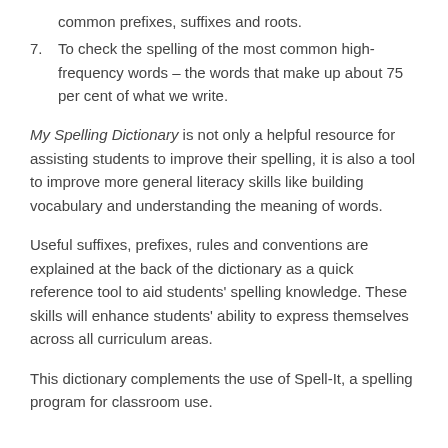common prefixes, suffixes and roots.
7. To check the spelling of the most common high-frequency words – the words that make up about 75 per cent of what we write.
My Spelling Dictionary is not only a helpful resource for assisting students to improve their spelling, it is also a tool to improve more general literacy skills like building vocabulary and understanding the meaning of words.
Useful suffixes, prefixes, rules and conventions are explained at the back of the dictionary as a quick reference tool to aid students' spelling knowledge. These skills will enhance students' ability to express themselves across all curriculum areas.
This dictionary complements the use of Spell-It, a spelling program for classroom use.